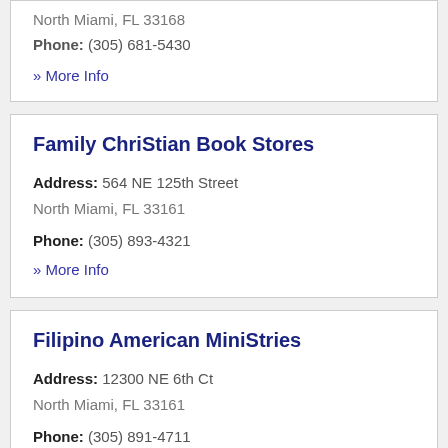North Miami, FL 33168
Phone: (305) 681-5430
» More Info
Family ChriStian Book Stores
Address: 564 NE 125th Street
North Miami, FL 33161
Phone: (305) 893-4321
» More Info
Filipino American MiniStries
Address: 12300 NE 6th Ct
North Miami, FL 33161
Phone: (305) 891-4711